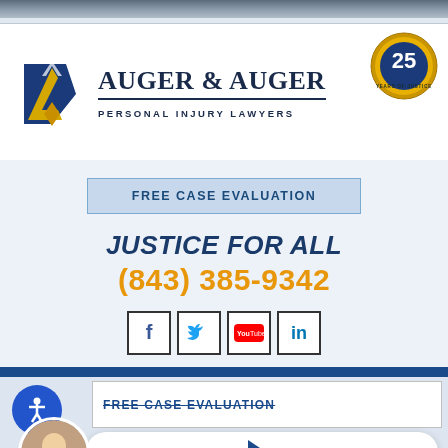[Figure (logo): Auger & Auger Personal Injury Lawyers logo with blue/gold arrow and shield icon, plus 25 Years of Justice badge]
FREE CASE EVALUATION
JUSTICE FOR ALL
(843) 385-9342
[Figure (infographic): Social media icons: Facebook, Twitter, YouTube, LinkedIn]
FREE CASE EVALUATION
LIVE CHAT  START NOW